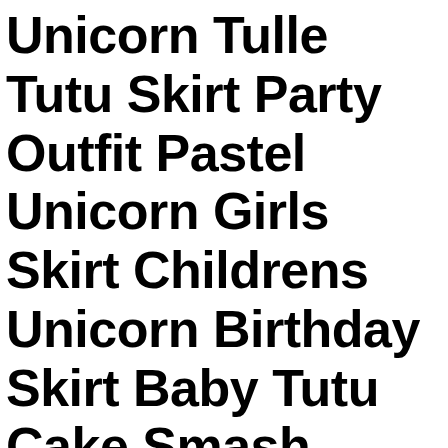Unicorn Tulle Tutu Skirt Party Outfit Pastel Unicorn Girls Skirt Childrens Unicorn Birthday Skirt Baby Tutu Cake Smash Skirt,christmas